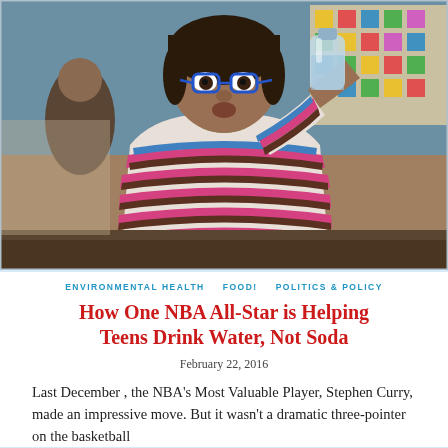[Figure (photo): A young student wearing glasses and a striped pink, brown, and white sweater drinks water from a clear plastic bottle in a school cafeteria setting. Other students and colorful classroom decorations are visible in the background.]
ENVIRONMENTAL HEALTH   FOOD!   POLITICS & POLICY
How One NBA All-Star is Helping Teens Drink Water, Not Soda
February 22, 2016
Last December , the NBA's Most Valuable Player, Stephen Curry, made an impressive move. But it wasn't a dramatic three-pointer on the basketball